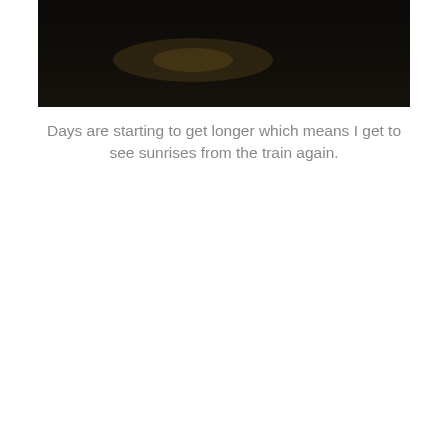[Figure (photo): A dark, blurry photograph, likely taken from a train window at dawn or dusk. The image is very dark with a faint warm glow or light streak visible in the upper-middle area, suggesting a sunrise or distant light source.]
Days are starting to get longer which means I get to see sunrises from the train again.